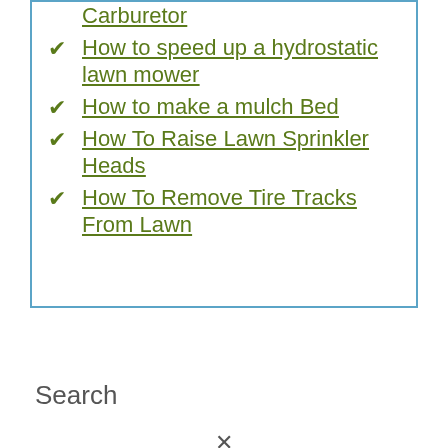Carburetor
How to speed up a hydrostatic lawn mower
How to make a mulch Bed
How To Raise Lawn Sprinkler Heads
How To Remove Tire Tracks From Lawn
Search